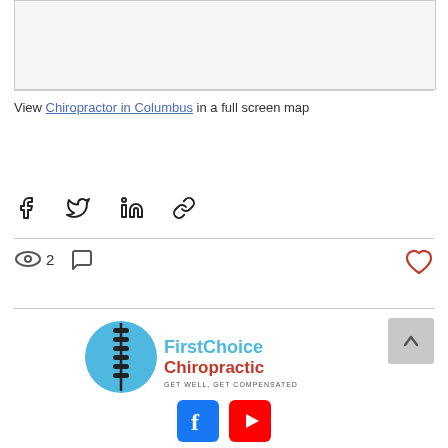[Figure (map): Embedded map placeholder showing Chiropractor in Columbus location]
View Chiropractor in Columbus in a full screen map
[Figure (infographic): Social share buttons: Facebook, Twitter, LinkedIn, Link/copy]
[Figure (infographic): Post stats: 2 views, comment icon, and heart/like button]
[Figure (logo): FirstChoice Chiropractic logo - GET WELL, GET COMPENSATED]
[Figure (infographic): Social media icons: Facebook and YouTube]